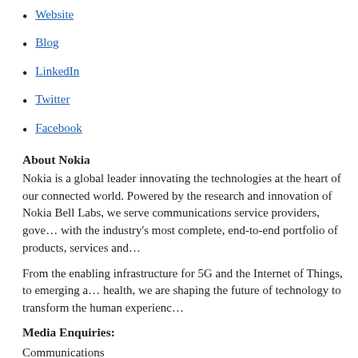Website
Blog
LinkedIn
Twitter
Facebook
About Nokia
Nokia is a global leader innovating the technologies at the heart of our connected world. Powered by the research and innovation of Nokia Bell Labs, we serve communications service providers, governments, large enterprises and consumers, with the industry's most complete, end-to-end portfolio of products, services and licensing.
From the enabling infrastructure for 5G and the Internet of Things, to emerging applications in digital health, we are shaping the future of technology to transform the human experience.
Media Enquiries:
Communications
Phone: +358 (0) 10 448 4900
E-mail: press.services@nokia.com
[Figure (infographic): Social media icons row: Facebook, Twitter, LinkedIn, Email, Print, Plus]